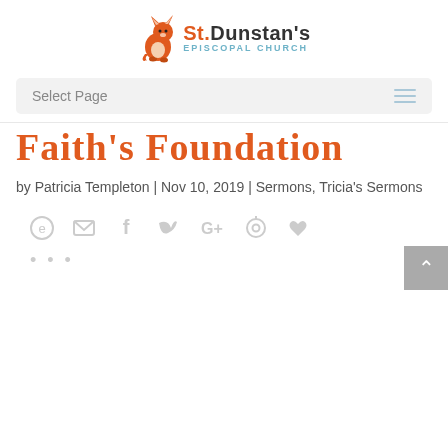[Figure (logo): St. Dunstan's Episcopal Church logo with orange fox illustration and text]
Select Page
Faith's Foundation
by Patricia Templeton | Nov 10, 2019 | Sermons, Tricia's Sermons
[Figure (infographic): Social sharing icons: Evernote, email, Facebook, Twitter, Google+, Pinterest, heart/like]
...